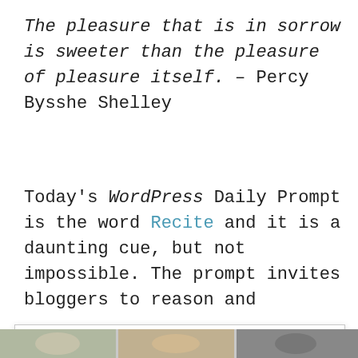The pleasure that is in sorrow is sweeter than the pleasure of pleasure itself. – Percy Bysshe Shelley
Today's WordPress Daily Prompt is the word Recite and it is a daunting cue, but not impossible. The prompt invites bloggers to reason and
Privacy & Cookies: This site uses cookies. By continuing to use this website, you agree to their use. To find out more, including how to control cookies, see here: Cookie Policy
Close and accept